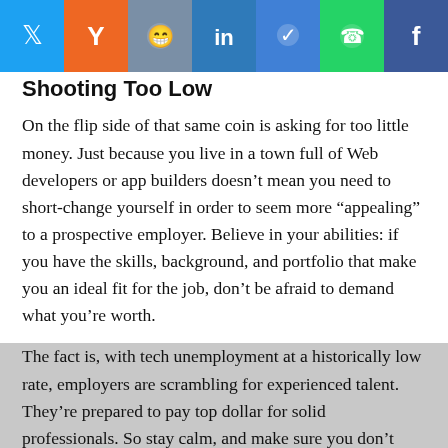[Figure (other): Social sharing bar with icons for Twitter, Yahoo, Reddit, LinkedIn, Messenger, WhatsApp, and Facebook]
Shooting Too Low
On the flip side of that same coin is asking for too little money. Just because you live in a town full of Web developers or app builders doesn't mean you need to short-change yourself in order to seem more “appealing” to a prospective employer. Believe in your abilities: if you have the skills, background, and portfolio that make you an ideal fit for the job, don’t be afraid to demand what you’re worth.
The fact is, with tech unemployment at a historically low rate, employers are scrambling for experienced talent. They’re prepared to pay top dollar for solid professionals. So stay calm, and make sure you don’t lowball yourself.